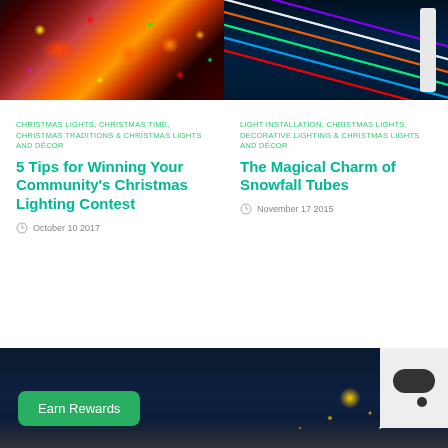[Figure (photo): Left: Christmas house decorated with lights, snowmen, and colorful holiday figures]
[Figure (photo): Right: Colorful LED snowfall tube lights with controller on dark background]
CHRISTMAS LIGHTS, CHRISTMAS TIME, CHRISTMAS TRADITIONS & CHRISTMAS LIGHTS AND DÉCOR
5 Tips for Winning Your Community's Christmas Lighting Contest
October 10 2017
LIGHT INSTALLATION, CHRISTMAS LIGHTS, DECORATIVE LIGHTING & CHRISTMAS LIGHTS AND DÉCOR
The Magical Charm of Snowfall Tubes
November 17 2015
[Figure (photo): Bottom banner with house roof decorated with Christmas lights at night, and Earn Rewards button overlay]